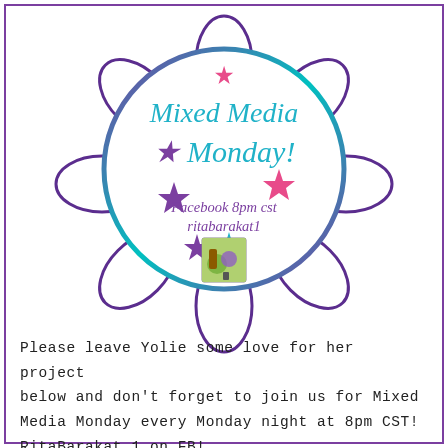[Figure (logo): Decorative mandala/lotus flower logo with teal and purple gradient circle border, purple petal outlines forming a flower/mandala shape, colorful stars (pink, purple, teal), text 'Mixed Media Monday!' in teal cursive font, 'Facebook 8pm cst ritabarakat1' in purple italic font, and a small square thumbnail image of artwork.]
Please leave Yolie some love for her project below and don't forget to join us for Mixed Media Monday every Monday night at 8pm CST! RitaBarakat.1 on FB!